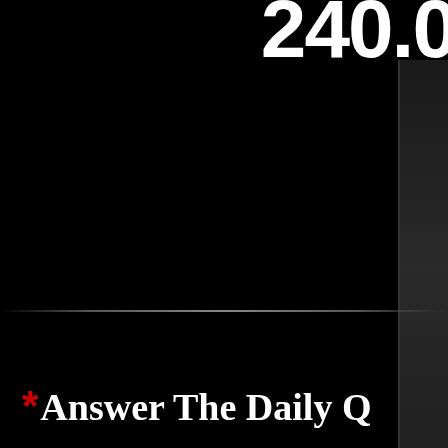[Figure (screenshot): Dark/black background with partial number '240.0' visible in white bold text at top right, a vertical dark panel/screen element on the right side, a horizontal glowing divider line across the middle-lower area, and partial text at bottom reading '* Answer The Daily Q' in white serif bold with a red asterisk.]
240.0
* Answer The Daily Q